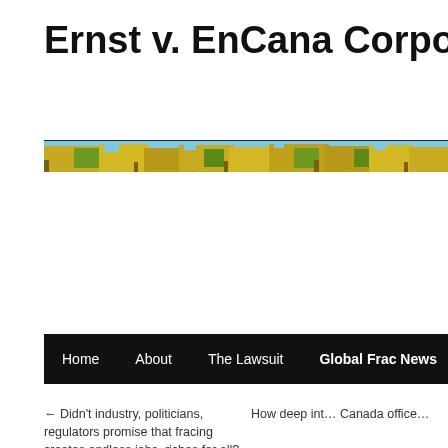Ernst v. EnCana Corporation
[Figure (photo): Horizontal banner image showing autumn trees with yellow and green foliage against a blue sky]
Home   About   The Lawsuit   Global Frac News   News & Multim…
← Didn't industry, politicians, regulators promise that fracing creates endless jobs, riches for all? Trican, 10th Largest US   How deep int… Canada office…